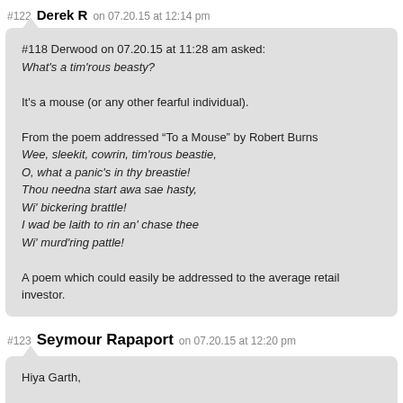#122 Derek R on 07.20.15 at 12:14 pm
#118 Derwood on 07.20.15 at 11:28 am asked:
What's a tim'rous beasty?

It's a mouse (or any other fearful individual).

From the poem addressed “To a Mouse” by Robert Burns
Wee, sleekit, cowrin, tim'rous beastie,
O, what a panic's in thy breastie!
Thou needna start awa sae hasty,
Wi' bickering brattle!
I wad be laith to rin an' chase thee
Wi' murd'ring pattle!

A poem which could easily be addressed to the average retail investor.
#123 Seymour Rapaport on 07.20.15 at 12:20 pm
Hiya Garth,

Just a heads up – traffic here on Greater Fool is likely to be down quite